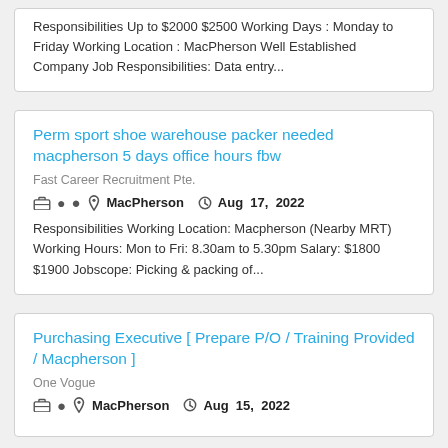Responsibilities Up to $2000 $2500 Working Days : Monday to Friday Working Location : MacPherson Well Established Company Job Responsibilities: Data entry...
Perm sport shoe warehouse packer needed macpherson 5 days office hours fbw
Fast Career Recruitment Pte.
MacPherson   Aug 17, 2022
Responsibilities Working Location: Macpherson (Nearby MRT) Working Hours: Mon to Fri: 8.30am to 5.30pm Salary: $1800 $1900 Jobscope: Picking & packing of...
Purchasing Executive [ Prepare P/O / Training Provided / Macpherson ]
One Vogue
MacPherson   Aug 15, 2022